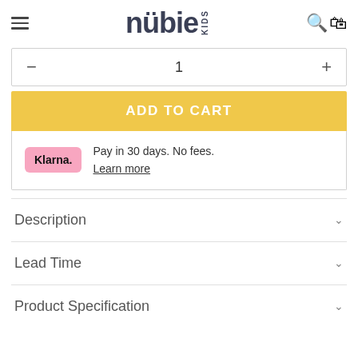nubie KIDS
- 1 +
ADD TO CART
Klarna. Pay in 30 days. No fees. Learn more
Description
Lead Time
Product Specification